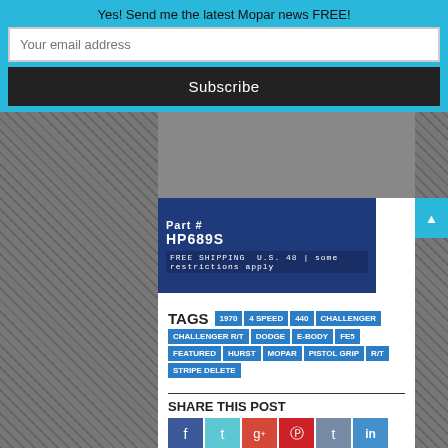Yes! Send me the latest Mopar news FREE!
Your email address
Subscribe
[Figure (photo): Advertisement banner showing Part# HP689S with FREE SHIPPING U.S. 48 | some restrictions apply]
TAGS  1970  4 SPEED  440  CHALLENGER  CHALLENGER R/T  DODGE  E-BODY  FE5  FEATURED  HURST  MOPAR  PISTOL GRIP  R/T  STRIPE DELETE
SHARE THIS POST
Facebook, Twitter, Google+, Pinterest, Tumblr, LinkedIn, StumbleUpon, VK social share buttons